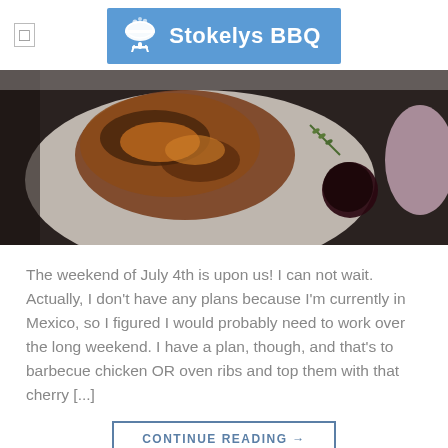Stokelys BBQ
[Figure (photo): Photo of grilled BBQ chicken on a white plate with a dark cherry and rosemary garnish]
The weekend of July 4th is upon us! I can not wait. Actually, I don't have any plans because I'm currently in Mexico, so I figured I would probably need to work over the long weekend. I have a plan, though, and that's to barbecue chicken OR oven ribs and top them with that cherry [...]
CONTINUE READING →
Posted in Bbq sauce | Tagged barbecue sauce, brown sugar, cider vinegar, cook minutes, medium heat, olive oil